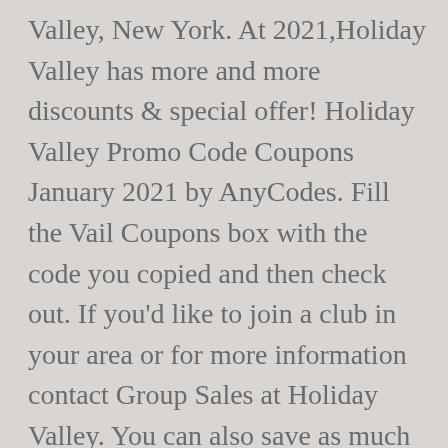Valley, New York. At 2021,Holiday Valley has more and more discounts & special offer! Holiday Valley Promo Code Coupons January 2021 by AnyCodes. Fill the Vail Coupons box with the code you copied and then check out. If you'd like to join a club in your area or for more information contact Group Sales at Holiday Valley. You can also save as much as you can with AnyCodes Holiday Valley Promo Codes & deals. Get Great Deals for 250 Resorts Like Holiday Valley When You Buy in Advance. We have 37 squawalpine.com Coupon Codes as of January 2021 Grab a free coupons and save money. Holiday Valley Student Discount January 2021.